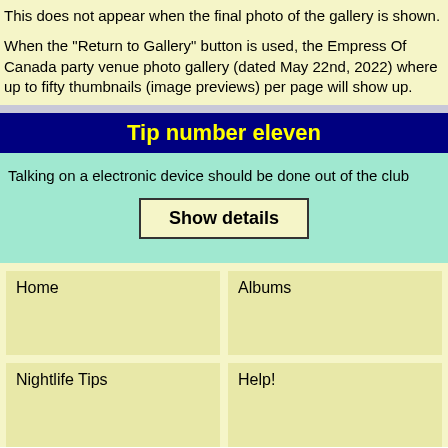This does not appear when the final photo of the gallery is shown.
When the "Return to Gallery" button is used, the Empress Of Canada party venue photo gallery (dated May 22nd, 2022) where up to fifty thumbnails (image previews) per page will show up.
Tip number eleven
Talking on a electronic device should be done out of the club
Show details
Home
Albums
Nightlife Tips
Help!